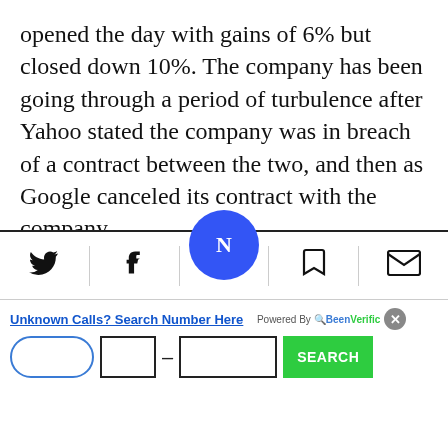opened the day with gains of 6% but closed down 10%. The company has been going through a period of turbulence after Yahoo stated the company was in breach of a contract between the two, and then as Google canceled its contract with the company.
Chipmaker TowerJazz dropped 3.75% after publishing its financial reports, revealing revenues of $133 million for the third quarter, which is 15% less than in the parallel quarter. The company's shar[e price] wn [/]0% for the
[Figure (other): Bottom navigation bar with Twitter (bird), Facebook (f), central blue circular Nasdaq-style icon, bookmark icon, and email/envelope icon. Below it is an advertisement banner: 'Unknown Calls? Search Number Here' with phone number input fields and a green SEARCH button, powered by BeenVerified.]